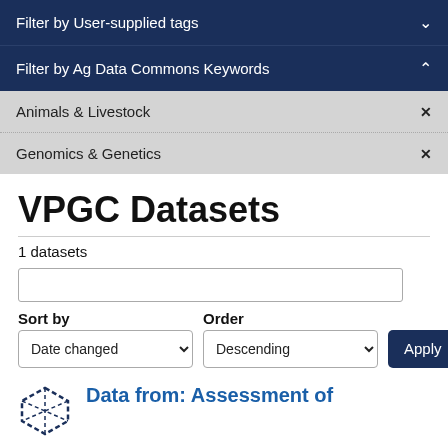Filter by User-supplied tags
Filter by Ag Data Commons Keywords
Animals & Livestock
Genomics & Genetics
VPGC Datasets
1 datasets
Sort by   Order   Date changed   Descending   Apply   Reset
Data from: Assessment of